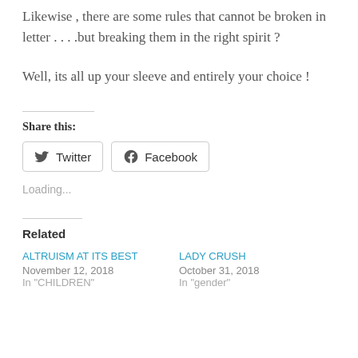Likewise , there are some rules that cannot be broken in letter . . . .but breaking them in the right spirit ?
Well, its all up your sleeve and entirely your choice !
Share this:
Twitter  Facebook
Loading...
Related
ALTRUISM AT ITS BEST
November 12, 2018
In "CHILDREN"
LADY CRUSH
October 31, 2018
In "gender"